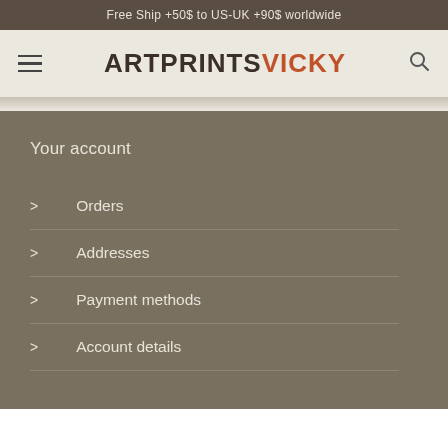Free Ship +50$ to US-UK +90$ worldwide
[Figure (logo): ArtPrintsVicky logo with hamburger menu icon on left and search icon on right]
Your account
Orders
Addresses
Payment methods
Account details